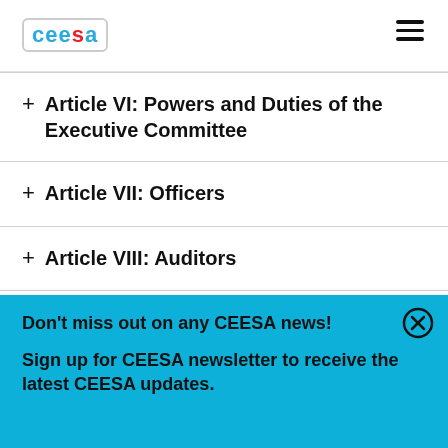CEESA
+ Article VI: Powers and Duties of the Executive Committee
+ Article VII: Officers
+ Article VIII: Auditors
Don't miss out on any CEESA news!
Sign up for CEESA newsletter to receive the latest CEESA updates.